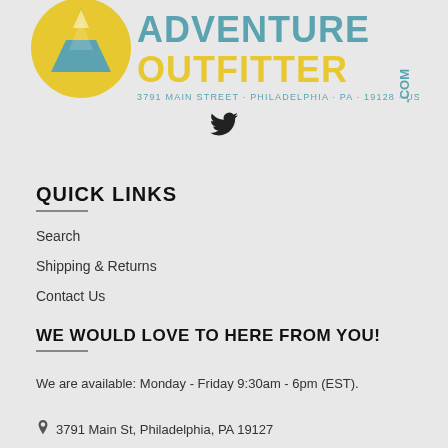[Figure (logo): Adventure Outfitter .com logo with mountain/tent graphic in yellow circle, teal text reading ADVENTURE OUTFITTER .com, and address 3791 MAIN STREET · PHILADELPHIA · PA · 19128 · USA]
[Figure (illustration): Twitter bird icon in black]
QUICK LINKS
Search
Shipping & Returns
Contact Us
WE WOULD LOVE TO HERE FROM YOU!
We are available: Monday - Friday 9:30am - 6pm (EST).
3791 Main St, Philadelphia, PA 19127